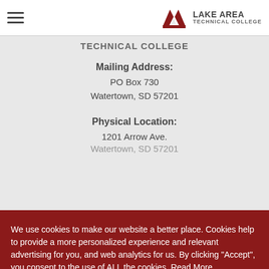Lake Area Technical College
TECHNICAL COLLEGE
Mailing Address:
PO Box 730
Watertown, SD 57201
Physical Location:
1201 Arrow Ave.
Watertown, SD 57201
We use cookies to make our website a better place. Cookies help to provide a more personalized experience and relevant advertising for you, and web analytics for us. By clicking "Accept", you consent to the use of ALL the cookies. Read More
Cookie Settings
Accept